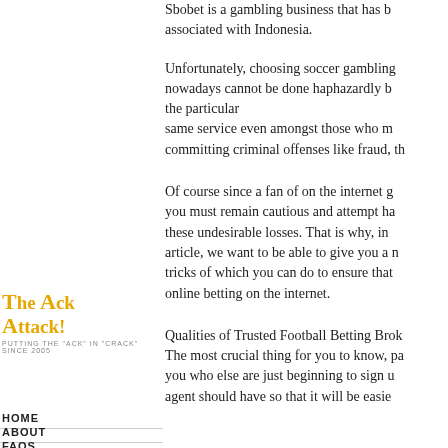Sbobet is a gambling business that has been associated with Indonesia.
Unfortunately, choosing soccer gambling nowadays cannot be done haphazardly b the particular same service even amongst those who m committing criminal offenses like fraud, th
The Ack Attack!
PUTTING THE "ACK" IN "CRACK" SINCE 2005
HOME
ABOUT
FAQS
LOST RECAPS
FEED
Of course since a fan of on the internet g you must remain cautious and attempt ha these undesirable losses. That is why, in article, we want to be able to give you a n tricks of which you can do to ensure that online betting on the internet.
Qualities of Trusted Football Betting Brok The most crucial thing for you to know, pa you who else are just beginning to sign u agent should have so that it will be easie